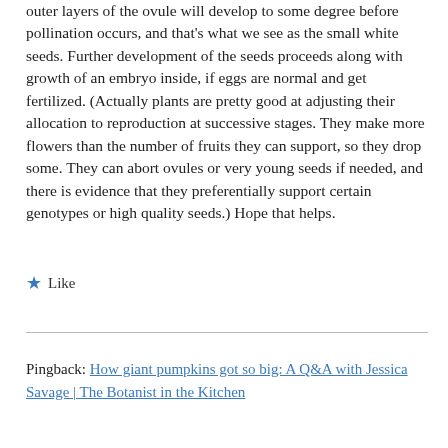outer layers of the ovule will develop to some degree before pollination occurs, and that's what we see as the small white seeds. Further development of the seeds proceeds along with growth of an embryo inside, if eggs are normal and get fertilized. (Actually plants are pretty good at adjusting their allocation to reproduction at successive stages. They make more flowers than the number of fruits they can support, so they drop some. They can abort ovules or very young seeds if needed, and there is evidence that they preferentially support certain genotypes or high quality seeds.) Hope that helps.
★ Like
Pingback: How giant pumpkins got so big: A Q&A with Jessica Savage | The Botanist in the Kitchen